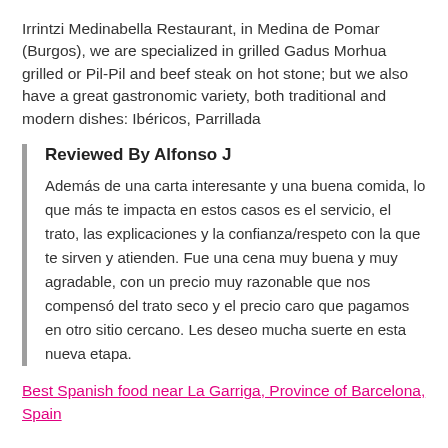Irrintzi Medinabella Restaurant, in Medina de Pomar (Burgos), we are specialized in grilled Gadus Morhua grilled or Pil-Pil and beef steak on hot stone; but we also have a great gastronomic variety, both traditional and modern dishes: Ibéricos, Parrillada
Reviewed By Alfonso J
Además de una carta interesante y una buena comida, lo que más te impacta en estos casos es el servicio, el trato, las explicaciones y la confianza/respeto con la que te sirven y atienden. Fue una cena muy buena y muy agradable, con un precio muy razonable que nos compensó del trato seco y el precio caro que pagamos en otro sitio cercano. Les deseo mucha suerte en esta nueva etapa.
Best Spanish food near La Garriga, Province of Barcelona, Spain